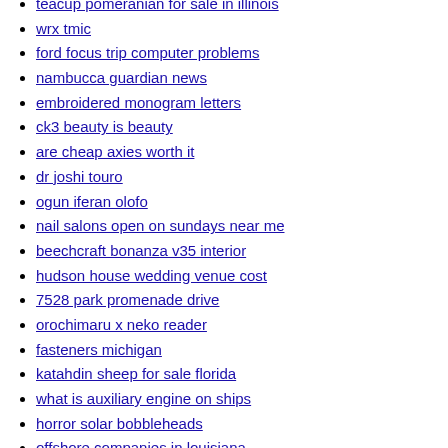teacup pomeranian for sale in illinois
wrx tmic
ford focus trip computer problems
nambucca guardian news
embroidered monogram letters
ck3 beauty is beauty
are cheap axies worth it
dr joshi touro
ogun iferan olofo
nail salons open on sundays near me
beechcraft bonanza v35 interior
hudson house wedding venue cost
7528 park promenade drive
orochimaru x neko reader
fasteners michigan
katahdin sheep for sale florida
what is auxiliary engine on ships
horror solar bobbleheads
offshore companies in louisiana
atlantic county sheriff
aclara smart meter manual
gumtree tasmania pets
loan nguyen 718
heartwarming birthday letter for daughter
man jumps off bridge in fort worth today 2021